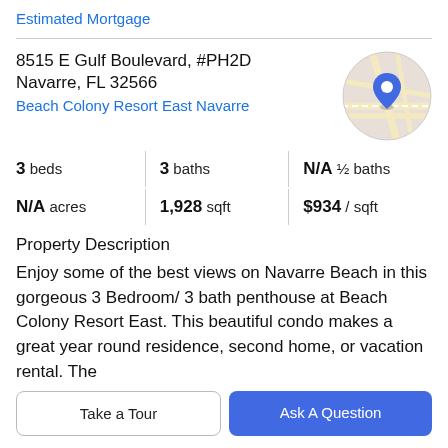Estimated Mortgage
8515 E Gulf Boulevard, #PH2D
Navarre, FL 32566
Beach Colony Resort East Navarre
[Figure (map): Circular map thumbnail showing street map with blue location pin marker]
3 beds   3 baths   N/A ½ baths
N/A acres   1,928 sqft   $934 / sqft
Property Description
Enjoy some of the best views on Navarre Beach in this gorgeous 3 Bedroom/ 3 bath penthouse at Beach Colony Resort East. This beautiful condo makes a great year round residence, second home, or vacation rental. The
grounds feature tropical landscaping and the lush
Take a Tour
Ask A Question